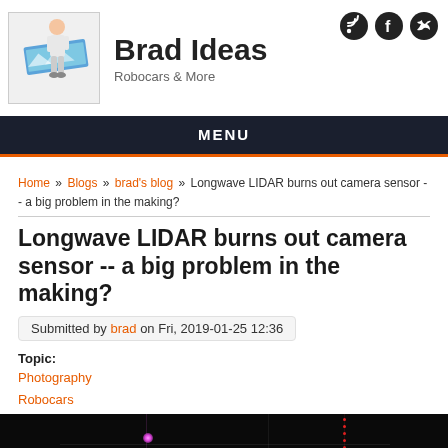Brad Ideas — Robocars & More
MENU
Home » Blogs » brad's blog » Longwave LIDAR burns out camera sensor -- a big problem in the making?
Longwave LIDAR burns out camera sensor -- a big problem in the making?
Submitted by brad on Fri, 2019-01-25 12:36
Topic:
Photography
Robocars
[Figure (photo): Dark photograph showing laser light streaks — a pink/magenta laser dot on left and a column of red dots on the right, likely showing LIDAR beam damage on a camera sensor]